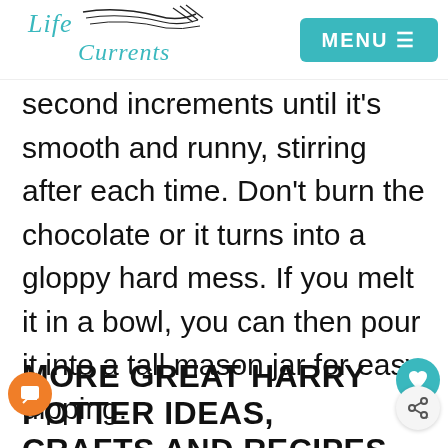Life Currents | MENU
second increments until it’s smooth and runny, stirring after each time. Don’t burn the chocolate or it turns into a gloppy hard mess. If you melt it in a bowl, you can then pour it into a tall mason jar for easy dipping.
MORE GREAT HARRY POTTER IDEAS, CRAFTS AND RECIPES